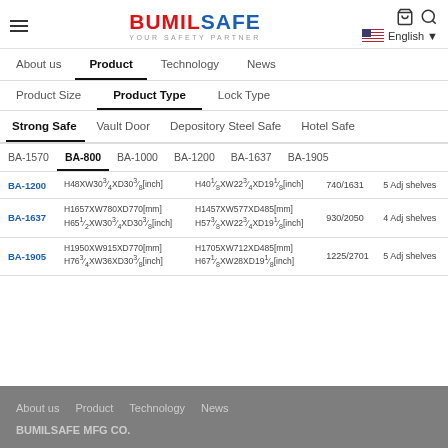BUMILSAFE - YOUR SAFETY PARTNER
About us | Product | Technology | News
Product Size | Product Type | Lock Type
Strong Safe | Vault Door | Depository Steel Safe | Hotel Safe
BA-1570 | BA-800 | BA-1000 | BA-1200 | BA-1637 | BA-1905
| Model | Outer Dimensions | Inner Dimensions | Weight (kg/lbs) | Shelves |
| --- | --- | --- | --- | --- |
| BA-1200 | H48XW30 3/4XD30 3/8[inch] | H40 1/8XW22 3/4XD19 1/8[inch] | 740/1631 | 5 Adj shelves |
| BA-1637 | H1657XW780XD770[mm] H65 1/2XW30 3/4XD30 3/8[inch] | H1457XW577XD485[mm] H57 3/8XW22 3/4XD19 1/8[inch] | 930/2050 | 4 Adj shelves |
| BA-1905 | H1950XW915XD770[mm] H76 3/4XW36XD30 3/8[inch] | H1705XW712XD485[mm] H67 1/8XW28XD19 1/8[inch] | 1225/2701 | 5 Adj shelves |
About us | Product | Technology | News
BUMILSAFE MFG CO.